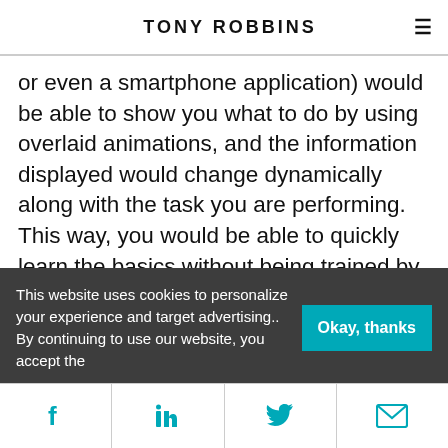TONY ROBBINS
or even a smartphone application) would be able to show you what to do by using overlaid animations, and the information displayed would change dynamically along with the task you are performing. This way, you would be able to quickly learn the basics without being trained by another employee or even without the need of consulting a manual. You could also launch into advanced techniques more quickly than you otherwise
This website uses cookies to personalize your experience and target advertising.. By continuing to use our website, you accept the
Okay, thanks